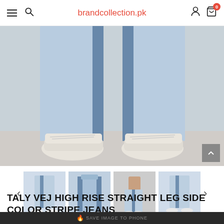brandcollection.pk
[Figure (photo): Close-up of lower body wearing light blue high-rise straight leg jeans with dark blue side color stripe, and chunky white sneakers, against a light grey background.]
[Figure (photo): Thumbnail 1: Full view of light blue side-stripe jeans on a model.]
[Figure (photo): Thumbnail 2: Front view of light blue jeans with dark blue side stripe.]
[Figure (photo): Thumbnail 3: Full body view of model wearing the jeans and a tan top.]
[Figure (photo): Thumbnail 4: Back view of light blue side-stripe jeans on a model.]
TALY VEJ HIGH RISE STRAIGHT LEG SIDE COLOR STRIPE JEANS